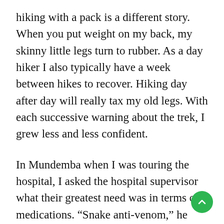hiking with a pack is a different story. When you put weight on my back, my skinny little legs turn to rubber. As a day hiker I also typically have a week between hikes to recover. Hiking day after day will really tax my old legs. With each successive warning about the trek, I grew less and less confident.
In Mundemba when I was touring the hospital, I asked the hospital supervisor what their greatest need was in terms of medications. “Snake anti-venom,” he said. Two or three people each month come in with venomous snake bites, but they have no anti-venom since they don’t have refrigeration. Most people, he said, don’t even bother coming since they know there is no anti-venom, so the